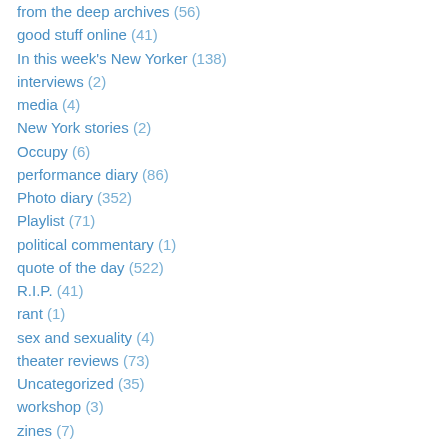from the deep archives (56)
good stuff online (41)
In this week's New Yorker (138)
interviews (2)
media (4)
New York stories (2)
Occupy (6)
performance diary (86)
Photo diary (352)
Playlist (71)
political commentary (1)
quote of the day (522)
R.I.P. (41)
rant (1)
sex and sexuality (4)
theater reviews (73)
Uncategorized (35)
workshop (3)
zines (7)